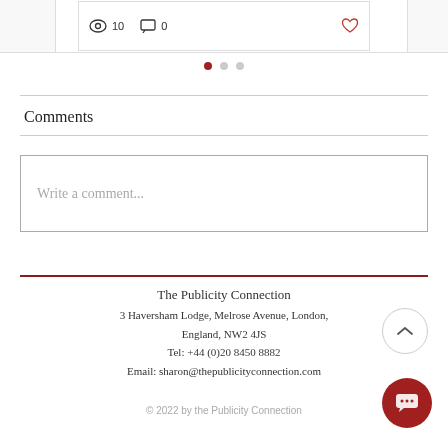[Figure (screenshot): Post card with view count 10, comment count 0, and heart/like icon]
[Figure (other): Pagination dots: three dots, first one active (red), two inactive (gray)]
Comments
Write a comment...
The Publicity Connection
3 Haversham Lodge, Melrose Avenue, London, England, NW2 4JS
Tel: +44 (0)20 8450 8882
Email: sharon@thepublicityconnection.com
© 2022 by the Publicity Connection